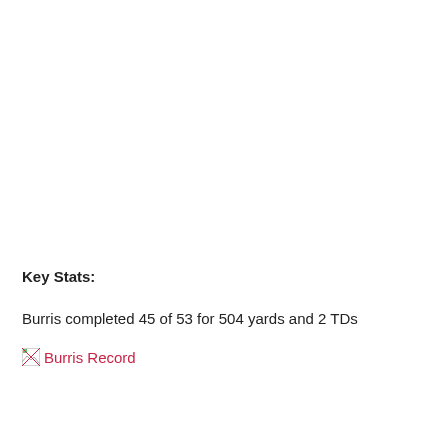Key Stats:
Burris completed 45 of 53 for 504 yards and 2 TDs
[Figure (other): Broken image placeholder labeled 'Burris Record']